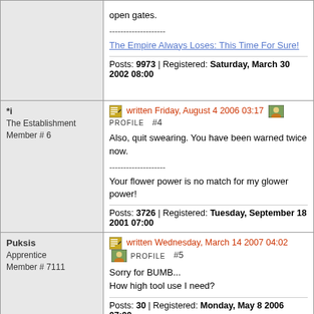open gates.
--------------------
The Empire Always Loses: This Time For Sure!
Posts: 9973 | Registered: Saturday, March 30 2002 08:00
*i
The Establishment
Member # 6
written Friday, August 4 2006 03:17  PROFILE  #4
Also, quit swearing. You have been warned twice now.
--------------------
Your flower power is no match for my glower power!
Posts: 3726 | Registered: Tuesday, September 18 2001 07:00
Puksis
Apprentice
Member # 7111
written Wednesday, March 14 2007 04:02  PROFILE  #5
Sorry for BUMB...
How high tool use I need?
Posts: 30 | Registered: Monday, May 8 2006 07:00
Thuryl
...b10010b...
written Wednesday, March 14 2007 04:16  PROFILE